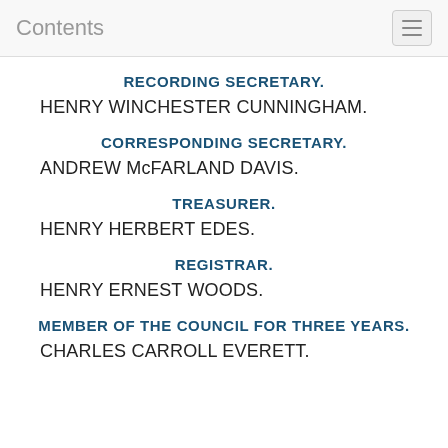Contents
RECORDING SECRETARY.
HENRY WINCHESTER CUNNINGHAM.
CORRESPONDING SECRETARY.
ANDREW McFARLAND DAVIS.
TREASURER.
HENRY HERBERT EDES.
REGISTRAR.
HENRY ERNEST WOODS.
MEMBER OF THE COUNCIL FOR THREE YEARS.
CHARLES CARROLL EVERETT.